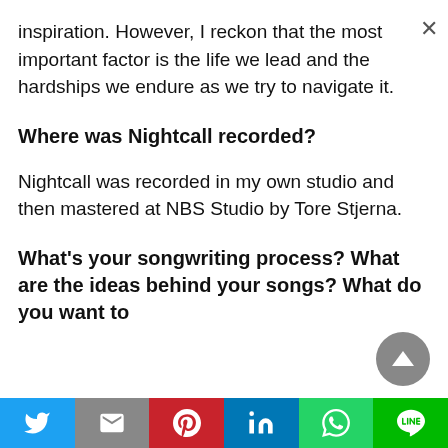inspiration. However, I reckon that the most important factor is the life we lead and the hardships we endure as we try to navigate it.
Where was Nightcall recorded?
Nightcall was recorded in my own studio and then mastered at NBS Studio by Tore Stjerna.
What's your songwriting process? What are the ideas behind your songs? What do you want to
[Figure (other): Scroll-to-top button, circular grey arrow icon]
[Figure (other): Social share bar with Twitter, Gmail, Pinterest, LinkedIn, WhatsApp, Line buttons]